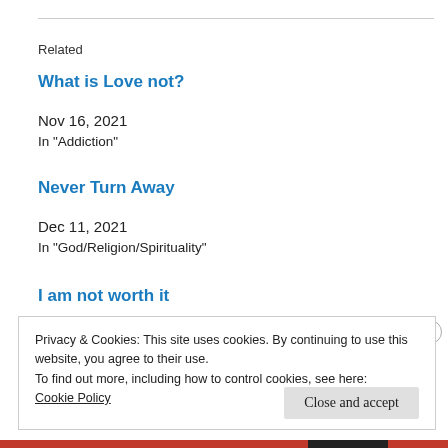Related
What is Love not?
Nov 16, 2021
In "Addiction"
Never Turn Away
Dec 11, 2021
In "God/Religion/Spirituality"
I am not worth it
Privacy & Cookies: This site uses cookies. By continuing to use this website, you agree to their use.
To find out more, including how to control cookies, see here:
Cookie Policy
Close and accept